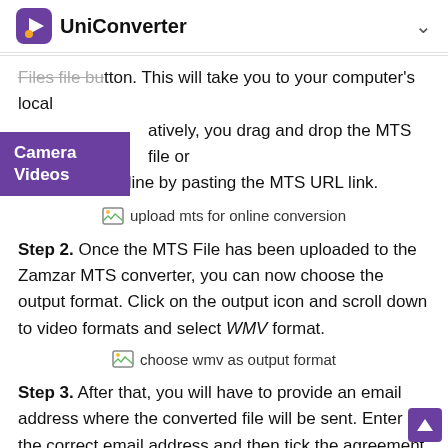UniConverter
Files file button. This will take you to your computer's local atively, you drag and drop the MTS file or downloda it online by pasting the MTS URL link.
[Figure (screenshot): Image placeholder for upload mts for online conversion]
Step 2. Once the MTS File has been uploaded to the Zamzar MTS converter, you can now choose the output format. Click on the output icon and scroll down to video formats and select WMV format.
[Figure (screenshot): Image placeholder for choose wmv as output format]
Step 3. After that, you will have to provide an email address where the converted file will be sent. Enter the correct email address and then tick the agreement button. From there, click on Convert, and Zamzar will begin to